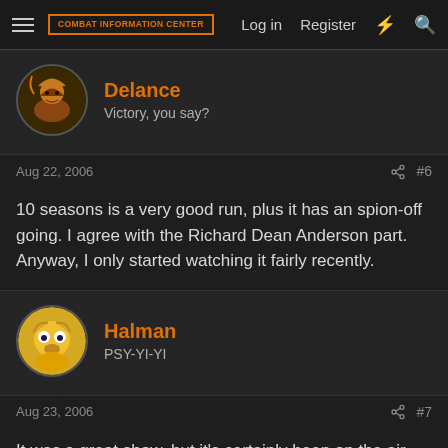COMBAT INFORMATION CENTER | Log in | Register
Delance
Victory, you say?
Aug 22, 2006 #6
10 seasons is a very good run, plus it has an spion-off going. I agree with the Richard Dean Anderson part. Anyway, I only started watching it fairly recently.
Halman
PSY-YI-YI
Aug 23, 2006 #7
It was a great show, but it's certainly been on the air long enough.